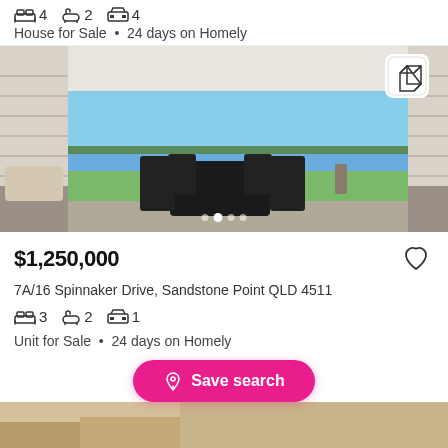4 bedrooms, 2 bathrooms, 4 garages
House for Sale • 24 days on Homely
[Figure (photo): Interior photo showing open-plan living area with outdoor patio furniture (table and chairs), lawn and waterway/lake view through open bifold doors]
$1,250,000
7A/16 Spinnaker Drive, Sandstone Point QLD 4511
3 bedrooms, 2 bathrooms, 1 garage
Unit for Sale • 24 days on Homely
Save search